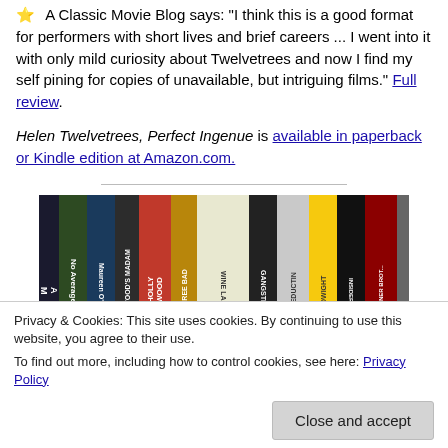A Classic Movie Blog says: "I think this is a good format for performers with short lives and brief careers ... I went into it with only mild curiosity about Twelvetrees and now I find my self pining for copies of unavailable, but intriguing films." Full review.
Helen Twelvetrees, Perfect Ingenue is available in paperback or Kindle edition at Amazon.com.
[Figure (photo): Photo of book spines on a shelf including titles: No Average Joe, Maureen O'Sullivan, Hollywood's Madam, Hollywood, Three Bad, Gangster, Seduction, Dwight, Warner Bros, Inside]
Privacy & Cookies: This site uses cookies. By continuing to use this website, you agree to their use. To find out more, including how to control cookies, see here: Privacy Policy
Close and accept